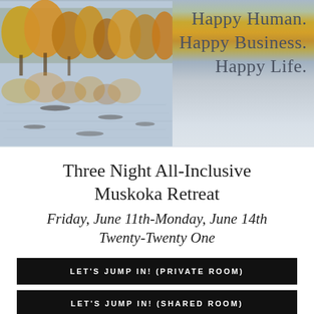[Figure (photo): Autumn lakeside landscape with golden and orange trees reflecting in still water, misty background. Text overlay reads: Happy Human. Happy Business. Happy Life.]
Three Night All-Inclusive Muskoka Retreat
Friday, June 11th-Monday, June 14th Twenty-Twenty One
LET'S JUMP IN! (PRIVATE ROOM)
LET'S JUMP IN! (SHARED ROOM)